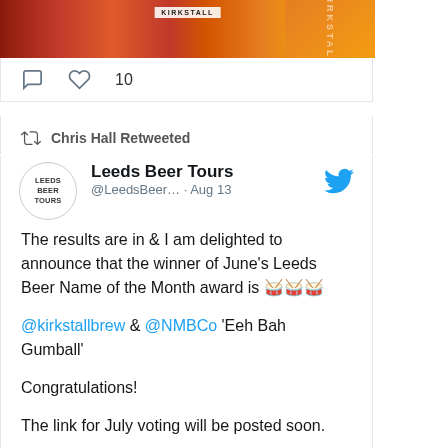[Figure (photo): Top portion of a tweet card showing a photo of Kirkstall brewery branded items - red/orange circular disc with KIRKSTALL label and an orange vessel/bottle]
10 (likes)
Chris Hall Retweeted
Leeds Beer Tours @LeedsBeer... · Aug 13
The results are in & I am delighted to announce that the winner of June's Leeds Beer Name of the Month award is 🥁🥁🥁

@kirkstallbrew & @NMBCo 'Eeh Bah Gumball'

Congratulations!

The link for July voting will be posted soon.